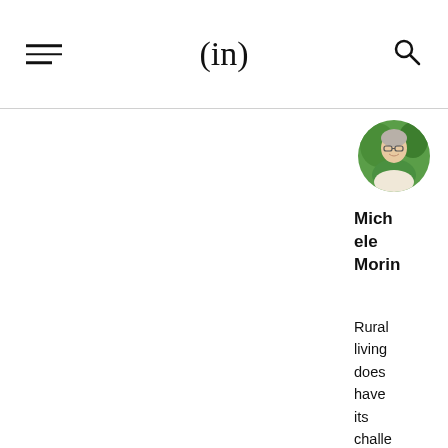(in)
[Figure (photo): Circular profile photo of Michele Morin, a woman with glasses, short gray hair, smiling, with green foliage background]
Michele Morin
Rural living does have its challenges in makin